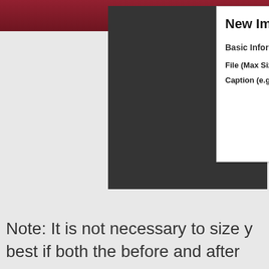Categories and Cases   Tags   Users
[Figure (screenshot): A dark gray rectangular screenshot block representing an image upload area]
New Image
Basic Information
File (Max Size:
Caption (e.g. "B
Note: It is not necessary to size y best if both the before and after